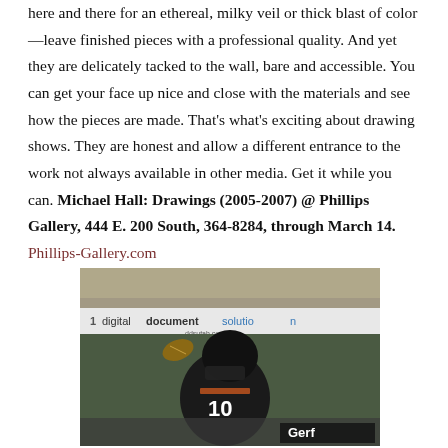here and there for an ethereal, milky veil or thick blast of color—leave finished pieces with a professional quality. And yet they are delicately tacked to the wall, bare and accessible. You can get your face up nice and close with the materials and see how the pieces are made. That's what's exciting about drawing shows. They are honest and allow a different entrance to the work not always available in other media. Get it while you can. Michael Hall: Drawings (2005-2007) @ Phillips Gallery, 444 E. 200 South, 364-8284, through March 14. Phillips-Gallery.com
[Figure (photo): Football player wearing jersey number 10 catching or throwing a football, with a crowd in the background and a 'digitaldocumentsolution' banner visible behind the player.]